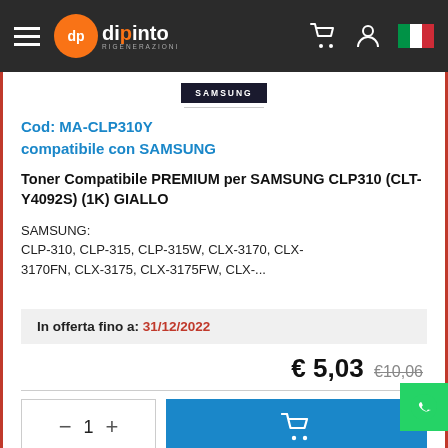dipinto rigenerazioni — navigation bar
[Figure (logo): Samsung product badge]
Cod: MA-CLP310Y
compatibile con SAMSUNG
Toner Compatibile PREMIUM per SAMSUNG CLP310 (CLT-Y4092S) (1K) GIALLO
SAMSUNG:
CLP-310, CLP-315, CLP-315W, CLX-3170, CLX-3170FN, CLX-3175, CLX-3175FW, CLX-...
In offerta fino a: 31/12/2022
€ 5,03  €10,06
Preferiti   Confronta